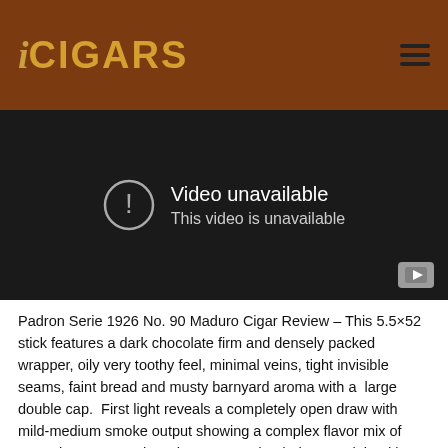iCIGARS
[Figure (screenshot): Video unavailable placeholder with YouTube icon. Shows 'Video unavailable' and 'This video is unavailable' text on dark background.]
Padron Serie 1926 No. 90 Maduro Cigar Review – This 5.5×52 stick features a dark chocolate firm and densely packed wrapper, oily very toothy feel, minimal veins, tight invisible seams, faint bread and musty barnyard aroma with a  large double cap.  First light reveals a completely open draw with mild-medium smoke output showing a complex flavor mix of natural sweetness, bread, pepper and a dark cocoa joined by a sweet light earth through the long finish.  The first third quickly shifts to a perfect draw with thick rich medium-full bodied smoke showing the same profile by amping up the pepper a good bit especially on the retrohale.  1/2 way in at 35 minutes the ash drops in a solid chunk and the performance in unchanged.  Ending at the nub at